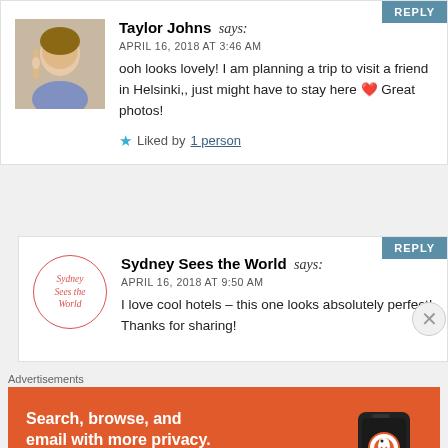Taylor Johns says: APRIL 16, 2018 AT 3:46 AM — ooh looks lovely! I am planning a trip to visit a friend in Helsinki,, just might have to stay here ❤ Great photos! Liked by 1 person
Sydney Sees the World says: APRIL 16, 2018 AT 9:50 AM — I love cool hotels – this one looks absolutely perfect! Thanks for sharing!
[Figure (infographic): DuckDuckGo advertisement: Search, browse, and email with more privacy. All in One Free App. Shows phone with DuckDuckGo logo.]